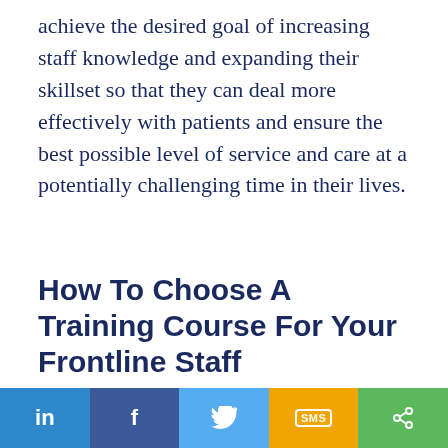achieve the desired goal of increasing staff knowledge and expanding their skillset so that they can deal more effectively with patients and ensure the best possible level of service and care at a potentially challenging time in their lives.
How To Choose A Training Course For Your Frontline Staff
We are using cookies to give you the best experience on our website.
You can find out more about which cookies we are using or switch them off in settings.